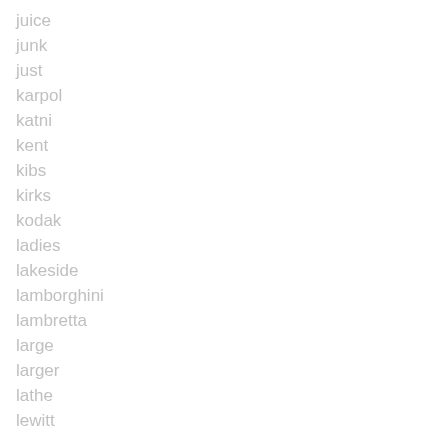juice
junk
just
karpol
katni
kent
kibs
kirks
kodak
ladies
lakeside
lamborghini
lambretta
large
larger
lathe
lewitt